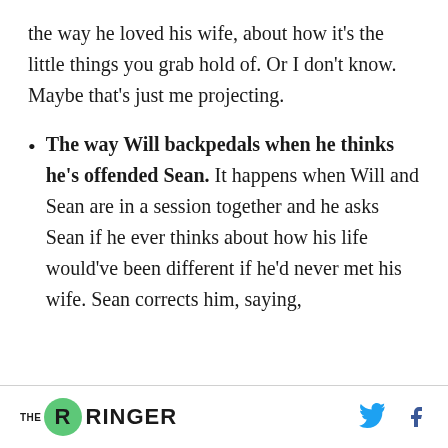the way he loved his wife, about how it's the little things you grab hold of. Or I don't know. Maybe that's just me projecting.
The way Will backpedals when he thinks he's offended Sean. It happens when Will and Sean are in a session together and he asks Sean if he ever thinks about how his life would've been different if he'd never met his wife. Sean corrects him, saying,
THE RINGER